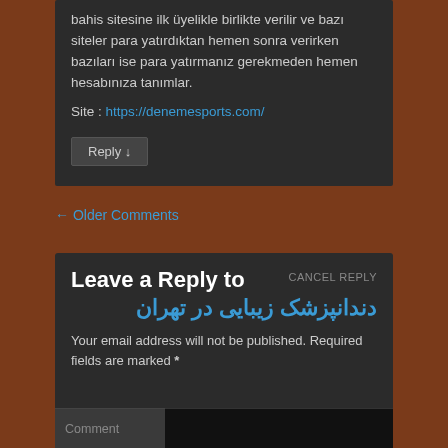bahis sitesine ilk üyelikle birlikte verilir ve bazı siteler para yatırdıktan hemen sonra verirken bazıları ise para yatırmanız gerekmeden hemen hesabınıza tanımlar.
Site : https://denemesports.com/
Reply ↓
← Older Comments
CANCEL REPLY
Leave a Reply to
دندانپزشک زیبایی در تهران
Your email address will not be published. Required fields are marked *
Comment